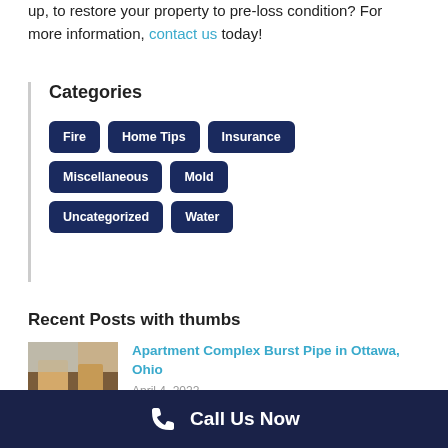up, to restore your property to pre-loss condition? For more information, contact us today!
Categories
Fire
Home Tips
Insurance
Miscellaneous
Mold
Uncategorized
Water
Recent Posts with thumbs
Apartment Complex Burst Pipe in Ottawa, Ohio
April 4, 2022
Call Us Now